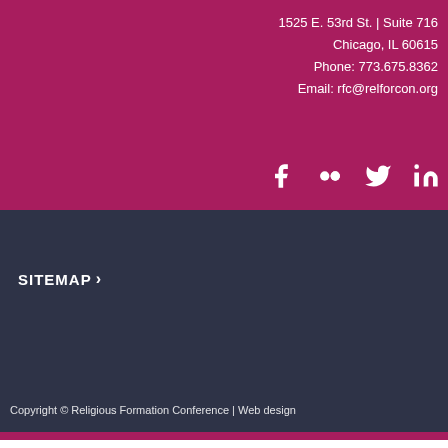1525 E. 53rd St. | Suite 716
Chicago, IL 60615
Phone: 773.675.8362
Email: rfc@relforcon.org
[Figure (other): Social media icons: Facebook, Flickr, Twitter, LinkedIn]
SITEMAP >
Copyright © Religious Formation Conference | Web design